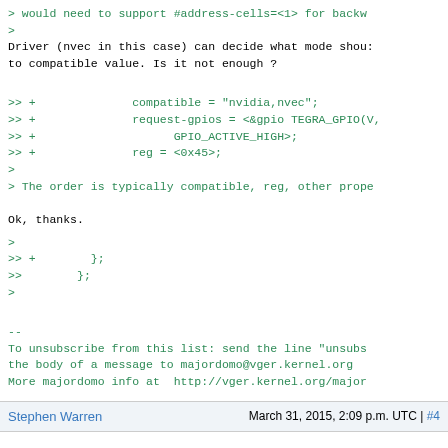> would need to support #address-cells=<1> for backw
>
Driver (nvec in this case) can decide what mode shou:
to compatible value. Is it not enough ?
>> +              compatible = "nvidia,nvec";
>> +              request-gpios = <&gpio TEGRA_GPIO(V,
>> +                    GPIO_ACTIVE_HIGH>;
>> +              reg = <0x45>;
>
> The order is typically compatible, reg, other prope
Ok, thanks.
>
>> +        };
>>        };
>
--
To unsubscribe from this list: send the line "unsubs
the body of a message to majordomo@vger.kernel.org
More majordomo info at  http://vger.kernel.org/major
Stephen Warren    March 31, 2015, 2:09 p.m. UTC | #4
On 03/31/2015 12:40 AM, Andrey Danin wrote:
> Hi,
>
> Thanks for the review.
>
> On 03-03-2015 9:29, Stephen Warren wrote: